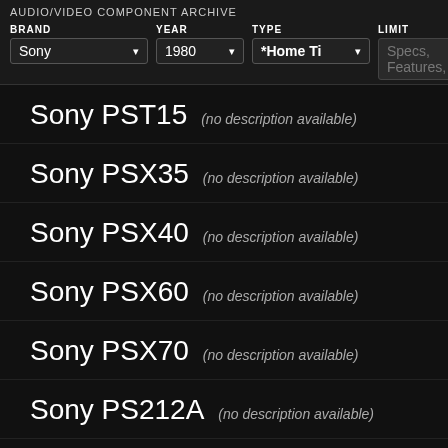AUDIO/VIDEO COMPONENT ARCHIVE
BRAND: Sony | YEAR: 1980 | TYPE: *Home Ti... | LIMIT: Specs, Features, et...
Sony PST15 (no description available)
Sony PSX35 (no description available)
Sony PSX40 (no description available)
Sony PSX60 (no description available)
Sony PSX70 (no description available)
Sony PS212A (no description available)
Sony PS333 (no description available)